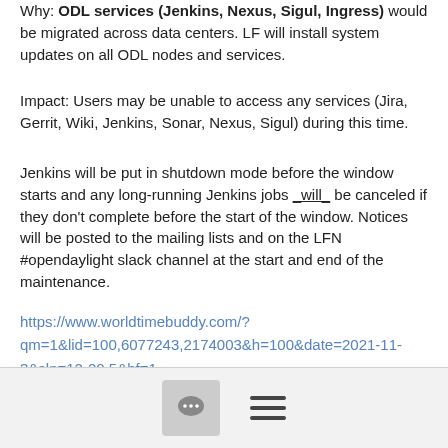Why: ODL services (Jenkins, Nexus, Sigul, Ingress) would be migrated across data centers. LF will install system updates on all ODL nodes and services.
Impact: Users may be unable to access any services (Jira, Gerrit, Wiki, Jenkins, Sonar, Nexus, Sigul) during this time.
Jenkins will be put in shutdown mode before the window starts and any long-running Jenkins jobs _will_ be canceled if they don't complete before the start of the window. Notices will be posted to the mailing lists and on the LFN #opendaylight slack channel at the start and end of the maintenance.
https://www.worldtimebuddy.com/?qm=1&lid=100,6077243,2174003&h=100&date=2021-11-3&sln=12-20.5&hf=1
Thanks,
Anil Belur
[Figure (other): Footer bar with comment bubble icon and hamburger menu icon]